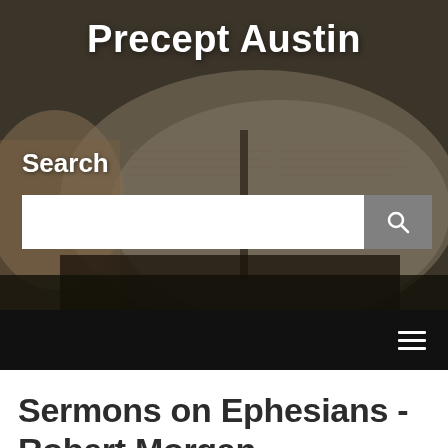[Figure (photo): Hero banner showing an open Bible with a hand holding a pen, dark overlay, background for Precept Austin website header]
Precept Austin
Search
[Figure (screenshot): Search bar with white input field and grey search button with magnifying glass icon]
[Figure (screenshot): Black navigation bar with hamburger menu icon on the right]
Sermons on Ephesians - Robert Morgan